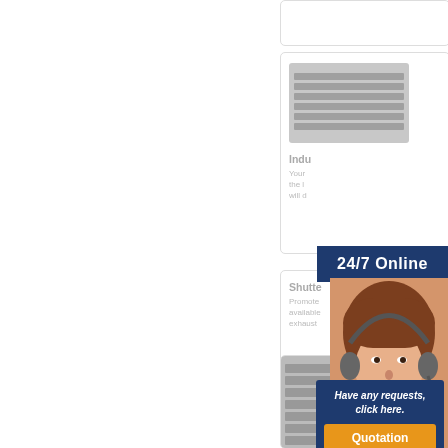[Figure (photo): Partial white card at top right, cropped]
[Figure (photo): White card with louvered vent grille image on left, text partially visible: 'Indu...' title and body text starting with 'Your... the l... will d...']
Indu
Your the l will d
24/7 Online
[Figure (photo): White card showing 'Shutte...' title and partial text 'Promote available exhaust'. Overlapped by headset customer service woman photo.]
Shutte
Promote available exhaust
[Figure (photo): Customer service woman wearing headset, smiling]
[Figure (photo): Bottom card with louvered vent grille image, overlapped by dark blue box with italic text 'Have any requests, click here.' and orange Quotation button]
Have any requests, click here.
Quotation